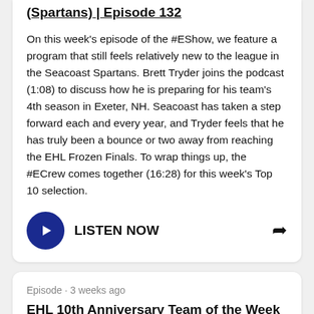(Spartans) | Episode 132
On this week's episode of the #EShow, we feature a program that still feels relatively new to the league in the Seacoast Spartans. Brett Tryder joins the podcast (1:08) to discuss how he is preparing for his team's 4th season in Exeter, NH. Seacoast has taken a step forward each and every year, and Tryder feels that he has truly been a bounce or two away from reaching the EHL Frozen Finals. To wrap things up, the #ECrew comes together (16:28) for this week's Top 10 selection.
LISTEN NOW
Episode · 3 weeks ago
EHL 10th Anniversary Team of the Week (Apple Core) | Episode 131
On this week's episode of the #EShow, we feature